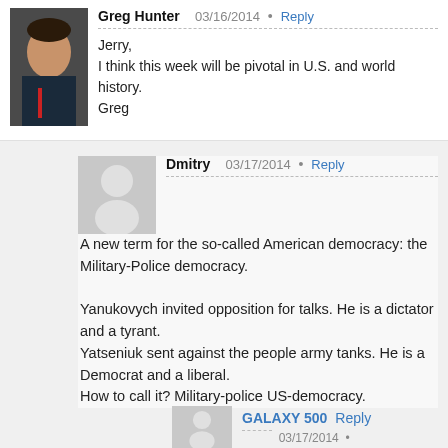Greg Hunter 03/16/2014 Reply
Jerry,
I think this week will be pivotal in U.S. and world history.
Greg
Dmitry 03/17/2014 Reply
A new term for the so-called American democracy: the Military-Police democracy.

Yanukovych invited opposition for talks. He is a dictator and a tyrant.
Yatseniuk sent against the people army tanks. He is a Democrat and a liberal.
How to call it? Military-police US-democracy.
GALAXY 500 Reply
03/17/2014